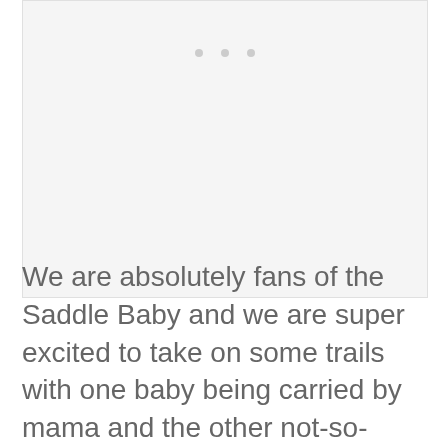[Figure (other): Placeholder image area with three gray dots at the top, light gray background]
We are absolutely fans of the Saddle Baby and we are super excited to take on some trails with one baby being carried by mama and the other not-so-small baby able to be toted by dad without the worry of injury to either party. If you're an active...